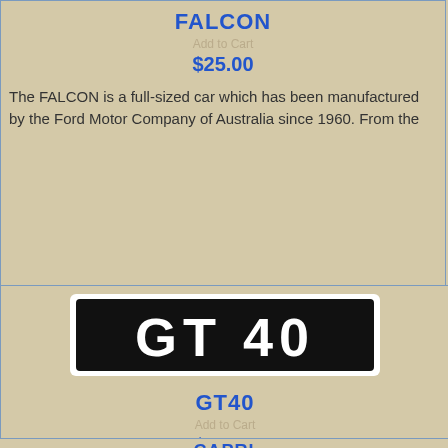FALCON
$25.00
The FALCON is a full-sized car which has been manufactured by the Ford Motor Company of Australia since 1960. From the
[Figure (photo): Black novelty number plate with white text reading GT40 in large bold letters]
GT40
$25.00
The GT40 novelty number plate is for the auto enthusiast. The Ford GT40 is a high performance American-British endurance
CAPRI